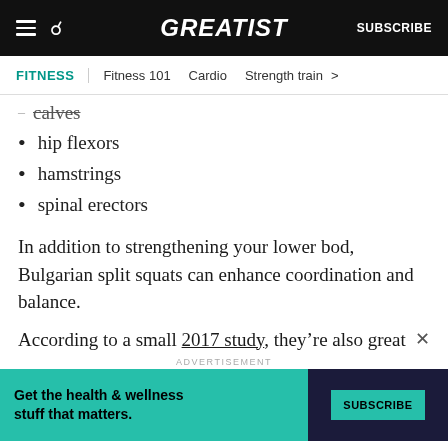GREATIST | SUBSCRIBE
FITNESS | Fitness 101 | Cardio | Strength train
calves (partial, truncated)
hip flexors
hamstrings
spinal erectors
In addition to strengthening your lower bod, Bulgarian split squats can enhance coordination and balance.
According to a small 2017 study, they’re also great
ADVERTISEMENT
[Figure (other): Advertisement banner: Get the health & wellness stuff that matters. SUBSCRIBE button on teal/dark background.]